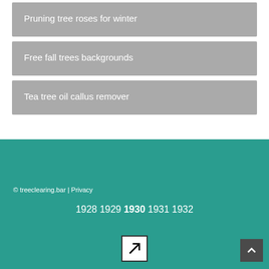Pruning tree roses for winter
Free fall trees backgrounds
Tea tree oil callus remover
© treeclearing.bar | Privacy
1928 1929 1930 1931 1932